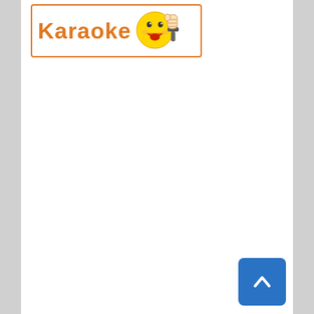[Figure (logo): Karaoke logo: orange bold text 'Karaoke' with a yellow smiley face emoji holding a microphone, inside an orange-bordered rectangle]
[Figure (other): Blue rounded square button with a white upward-pointing chevron/arrow, positioned at bottom right — back-to-top navigation button]